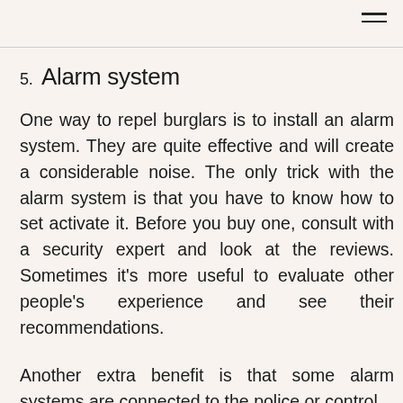5. Alarm system
One way to repel burglars is to install an alarm system. They are quite effective and will create a considerable noise. The only trick with the alarm system is that you have to know how to set activate it. Before you buy one, consult with a security expert and look at the reviews. Sometimes it's more useful to evaluate other people's experience and see their recommendations.
Another extra benefit is that some alarm systems are connected to the police or control